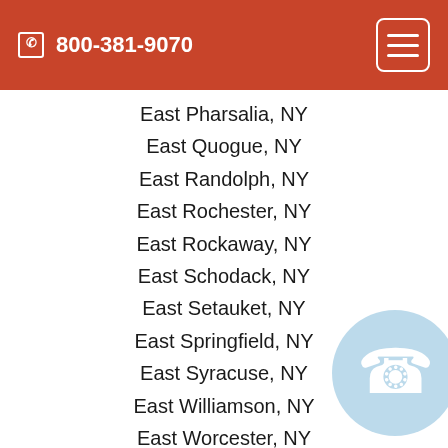800-381-9070
East Pharsalia, NY
East Quogue, NY
East Randolph, NY
East Rochester, NY
East Rockaway, NY
East Schodack, NY
East Setauket, NY
East Springfield, NY
East Syracuse, NY
East Williamson, NY
East Worcester, NY
Eastchester, NY
Eastport, NY
Eaton, NY
Eden, NY
Edmeston, NY
Edwards, NY
Elba, NY
[Figure (illustration): Blue circular phone icon button in the bottom right area]